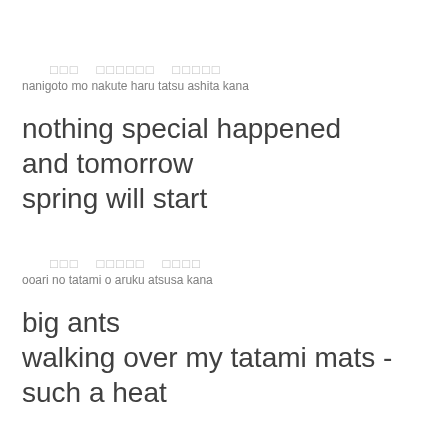なにごと もなくて はるたつ あしたかな
nanigoto mo nakute haru tatsu ashita kana
nothing special happened
and tomorrow
spring will start
おおあり のたたみをあるく あつさかな
ooari no tatami o aruku atsusa kana
big ants
walking over my tatami mats -
such a heat